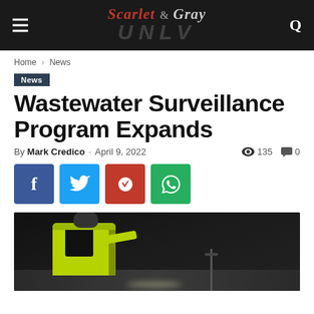The Scarlet & Gray — UNLV student newspaper header with hamburger menu and search icon
Home › News
News
Wastewater Surveillance Program Expands
By Mark Credico - April 9, 2022   👁 135   💬 0
[Figure (other): Social share buttons: Facebook (blue), Twitter (cyan), Pinterest (red), WhatsApp (green)]
[Figure (photo): Worker in a bright yellow-green safety vest crouching and working on a dark metal surface, possibly a sewer or drainage structure, illuminated by a light source]